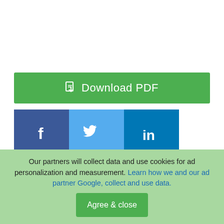[Figure (other): Download PDF green button with document icon]
[Figure (other): Social media sharing icons: Facebook (blue), Twitter (light blue), LinkedIn (dark blue)]
74 downloads   23702 Views   692KB Size
Report
Like 0
Comment
Our partners will collect data and use cookies for ad personalization and measurement. Learn how we and our ad partner Google, collect and use data. Agree & close